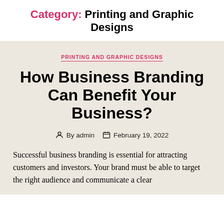Category: Printing and Graphic Designs
PRINTING AND GRAPHIC DESIGNS
How Business Branding Can Benefit Your Business?
By admin   February 19, 2022
Successful business branding is essential for attracting customers and investors. Your brand must be able to target the right audience and communicate a clear